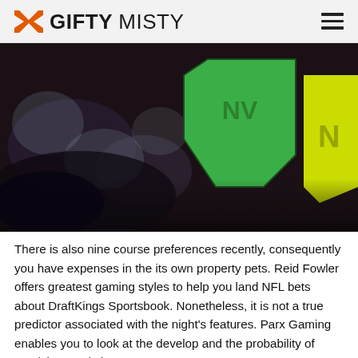GIFTY MISTY
[Figure (photo): Close-up photo of a colorful 3D map of US states, showing a green Nevada (NV) state piece and a yellow piece partially visible on the right, on a dark background.]
There is also nine course preferences recently, consequently you have expenses in the its own property pets. Reid Fowler offers greatest gaming styles to help you land NFL bets about DraftKings Sportsbook. Nonetheless, it is not a true predictor associated with the night's features. Parx Gaming enables you to look at the develop and the probability of receiving, assisting you to generate